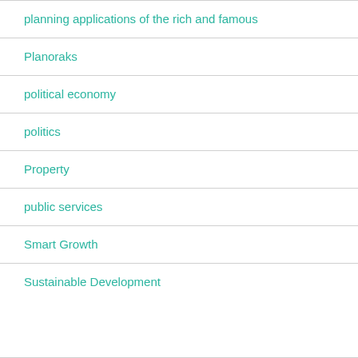planning applications of the rich and famous
Planoraks
political economy
politics
Property
public services
Smart Growth
Sustainable Development